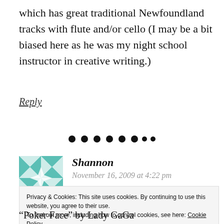which has great traditional Newfoundland tracks with flute and/or cello (I may be a bit biased here as he was my night school instructor in creative writing.)
Reply
[Figure (other): A row of black dots used as a section divider]
[Figure (illustration): Avatar image: teal/white quilt-pattern square thumbnail for commenter Shannon]
Shannon
November 16, 2009 at 4:22 pm
Privacy & Cookies: This site uses cookies. By continuing to use this website, you agree to their use. To find out more, including how to control cookies, see here: Cookie Policy
“Poker Face” by Lady GaGa